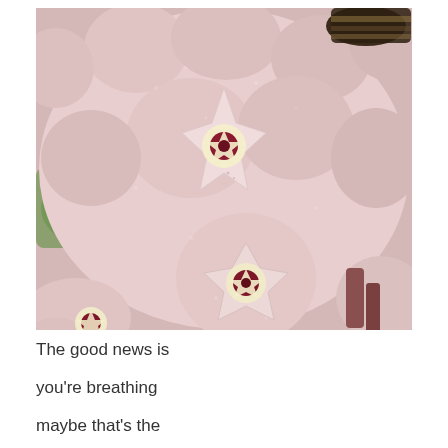[Figure (photo): Close-up macro photograph of Hoya carnosa (wax plant) flowers. Multiple star-shaped pale pink waxy flowers with small dark red and cream star-shaped coronas in their centers. The flowers appear fuzzy/velvety in texture. Some green leaves visible in the background along with dark stems.]
The good news is
you're breathing
maybe that's the